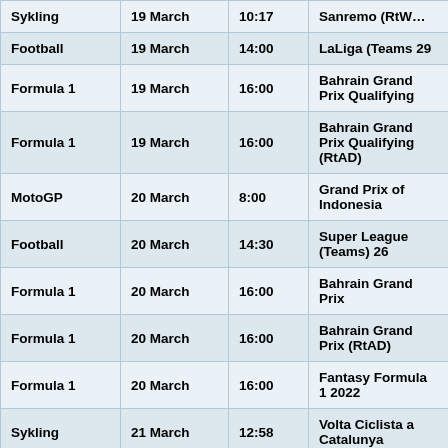| Sport | Date | Time | Event |
| --- | --- | --- | --- |
| Sykling | 19 March | 10:17 | Sanremo (RtW… |
| Football | 19 March | 14:00 | LaLiga (Teams 29 |
| Formula 1 | 19 March | 16:00 | Bahrain Grand Prix Qualifying |
| Formula 1 | 19 March | 16:00 | Bahrain Grand Prix Qualifying (RtAD) |
| MotoGP | 20 March | 8:00 | Grand Prix of Indonesia |
| Football | 20 March | 14:30 | Super League (Teams) 26 |
| Formula 1 | 20 March | 16:00 | Bahrain Grand Prix |
| Formula 1 | 20 March | 16:00 | Bahrain Grand Prix (RtAD) |
| Formula 1 | 20 March | 16:00 | Fantasy Formula 1 2022 |
| Sykling | 21 March | 12:58 | Volta Ciclista a Catalunya |
| Sykling | 21 March | 12:58 | Volta Ciclista a Catalunya |